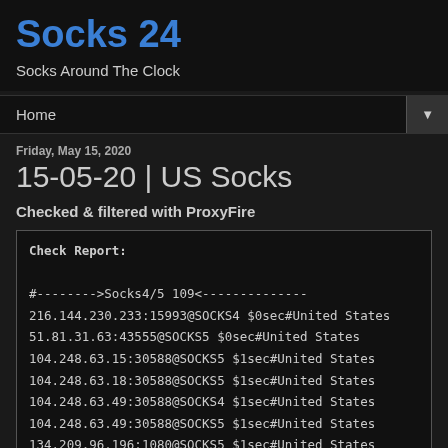Socks 24
Socks Around The Clock
Home
Friday, May 15, 2020
15-05-20 | US Socks
Checked & filtered with ProxyFire
Check Report:

#-------->Socks4/5 109<--------------
216.144.230.233:15993@SOCKS4 $0sec#United States
51.81.31.63:43555@SOCKS5 $0sec#United States
104.248.63.15:30588@SOCKS5 $1sec#United States
104.248.63.18:30588@SOCKS5 $1sec#United States
104.248.63.49:30588@SOCKS4 $1sec#United States
104.248.63.49:30588@SOCKS5 $1sec#United States
134.209.96.196:1080@SOCKS5 $1sec#United States